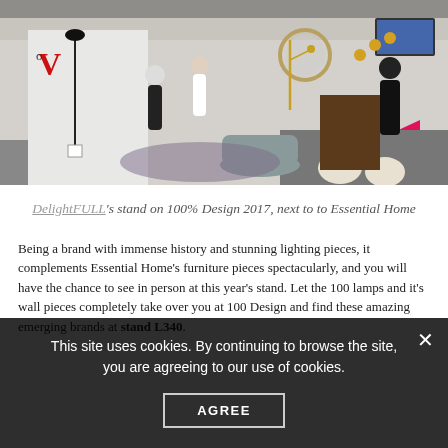[Figure (photo): Interior design trade show stand — DelightFULL's stand at 100% Design 2017 event, showing people browsing furniture and lighting pieces including lamps, sofas, ottomans, mirrors and wall sconces on a bright pink floor.]
DelightFULL's stand on 100% Design 2017, next to to Essential Home
Being a brand with immense history and stunning lighting pieces, it complements Essential Home's furniture pieces spectacularly, and you will have the chance to see in person at this year's stand. Let the 100 lamps and it's wall pieces completely take over you at 100 Design and find these amazing emerging brands at stand L340.
This site uses cookies. By continuing to browse the site, you are agreeing to our use of cookies.